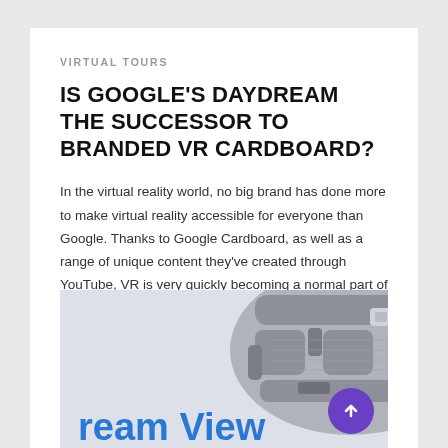VIRTUAL TOURS
IS GOOGLE'S DAYDREAM THE SUCCESSOR TO BRANDED VR CARDBOARD?
In the virtual reality world, no big brand has done more to make virtual reality accessible for everyone than Google. Thanks to Google Cardboard, as well as a range of unique content they've created through YouTube, VR is very quickly becoming a normal part of our lives. Thanks to branded VR cardboard, businesses can give…
[Figure (photo): Partial image of a Google Daydream View VR headset in grey fabric, with the text 'ream View' visible in blue at the bottom left. A purple scroll-to-top button with an upward arrow is overlaid in the bottom right corner.]